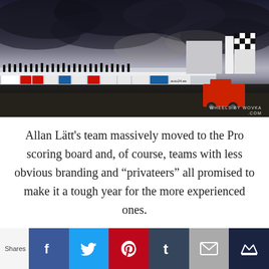[Figure (photo): Wide-angle photograph of a motorsport racing circuit under dramatic stormy sky. Silhouettes of spectators visible along the pit wall/barrier. Sponsor banners along the barrier including auto24.ee. Buildings and a checkered flag tower on the right. Emergency/fire truck visible. Watermark: WHEELS BY WOVKA .COM]
Allan Lätt's team massively moved to the Pro scoring board and, of course, teams with less obvious branding and “privateers” all promised to make it a tough year for the more experienced ones.
Shares | Facebook | Twitter | Pinterest | Tumblr | Email | Crown